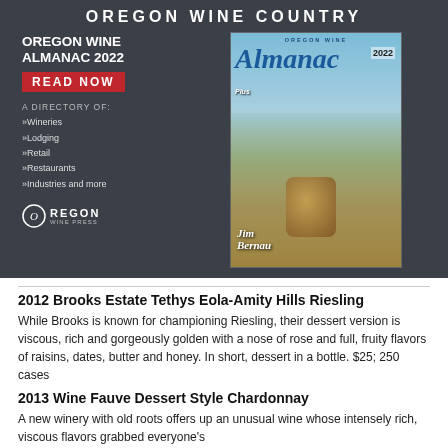[Figure (infographic): Oregon Wine Country advertisement banner featuring the Oregon Wine Almanac 2022 with a cover photo of people at a winery. Left side shows text 'OREGON WINE ALMANAC 2022', 'READ NOW', a directory list of Wineries, Lodging, Retail, Restaurants, Industries and more, and the Oregon Wine Press logo. Right side shows the Almanac cover with Jim Bernau featured.]
2012 Brooks Estate Tethys Eola-Amity Hills Riesling
While Brooks is known for championing Riesling, their dessert version is viscous, rich and gorgeously golden with a nose of rose and full, fruity flavors of raisins, dates, butter and honey. In short, dessert in a bottle. $25; 250 cases
2013 Wine Fauve Dessert Style Chardonnay
A new winery with old roots offers up an unusual wine whose intensely rich, viscous flavors grabbed everyone's